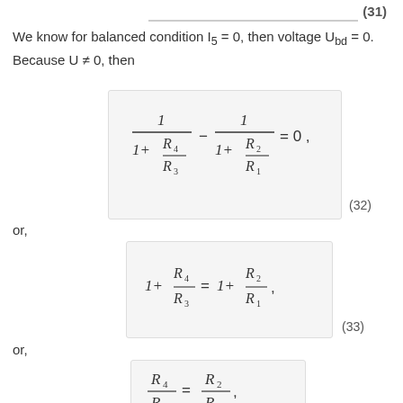(31)
We know for balanced condition I₅ = 0, then voltage U_bd = 0. Because U ≠ 0, then
(32)
or,
(33)
or,